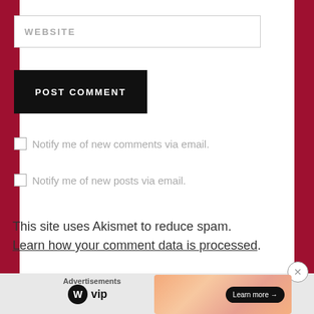[Figure (screenshot): Website input field placeholder text]
[Figure (screenshot): POST COMMENT black button]
Notify me of new comments via email.
Notify me of new posts via email.
This site uses Akismet to reduce spam. Learn how your comment data is processed.
Advertisements
[Figure (logo): WordPress VIP logo with WP circle icon]
[Figure (screenshot): Ad banner with Learn more button]